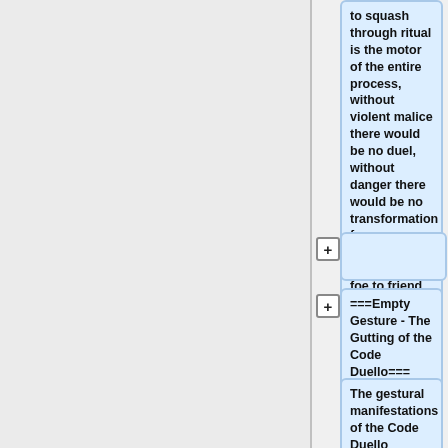to squash through ritual is the motor of the entire process, without violent malice there would be no duel, without danger there would be no transformation from dishonor to honor, from foe to friend.
===Empty Gesture - The Gutting of the Code Duello===
The gestural manifestations of the Code Duello illustrate the tension between